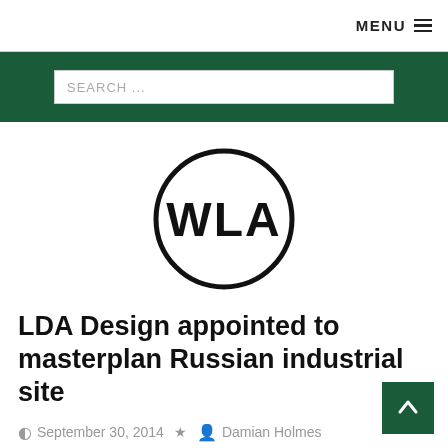MENU
SEARCH ...
[Figure (logo): WLA circular logo — black circle outline with bold text 'WLA' inside]
LDA Design appointed to masterplan Russian industrial site
September 30, 2014  Damian Holmes